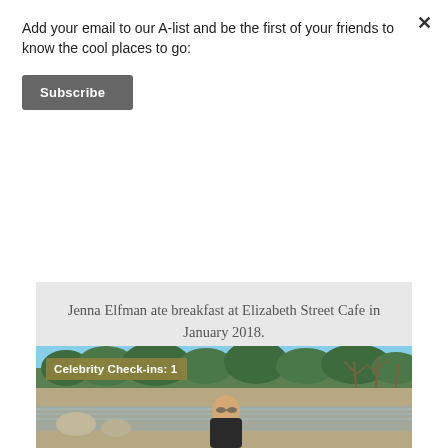Add your email to our A-list and be the first of your friends to know the cool places to go:
Subscribe
Jenna Elfman ate breakfast at Elizabeth Street Cafe in January 2018.
[Figure (photo): Outdoor photo of a woman standing near a river or creek in winter, wearing sunglasses and a dark jacket. Trees are visible in the background with a blue sky. A badge reads 'Celebrity Check-ins: 1'.]